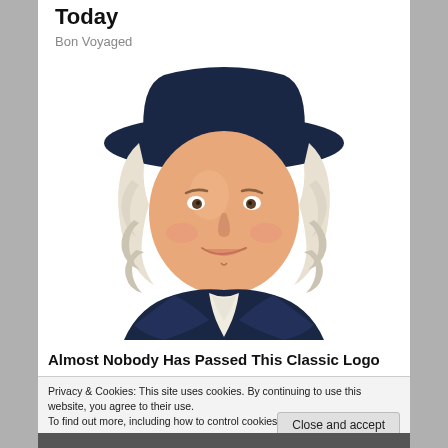Today
Bon Voyaged
[Figure (illustration): Quaker Oats mascot: a smiling man wearing a dark navy colonial-era hat and coat with white cravat, with white curly hair]
Almost Nobody Has Passed This Classic Logo
Privacy & Cookies: This site uses cookies. By continuing to use this website, you agree to their use.
To find out more, including how to control cookies, see here: Cookie Policy
Close and accept